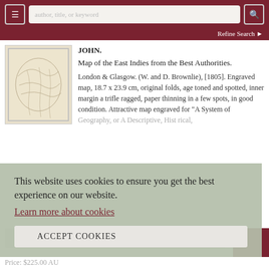author, title, or keyword | Refine Search
[Figure (photo): Thumbnail image of an antique map of the East Indies, sepia toned on cream paper]
JOHN.
Map of the East Indies from the Best Authorities.
London & Glasgow. (W. and D. Brownlie), [1805]. Engraved map, 18.7 x 23.9 cm, original folds, age toned and spotted, inner margin a trifle ragged, paper thinning in a few spots, in good condition. Attractive map engraved for "A System of Geography, or A Descriptive, Historical,
This website uses cookies to ensure you get the best experience on our website.
Learn more about cookies
ACCEPT COOKIES
Price: $225.00 AU